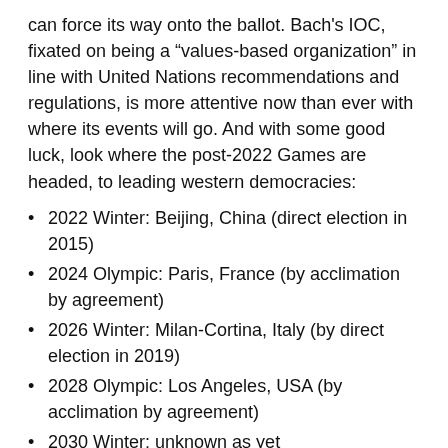can force its way onto the ballot. Bach's IOC, fixated on being a “values-based organization” in line with United Nations recommendations and regulations, is more attentive now than ever with where its events will go. And with some good luck, look where the post-2022 Games are headed, to leading western democracies:
2022 Winter: Beijing, China (direct election in 2015)
2024 Olympic: Paris, France (by acclimation by agreement)
2026 Winter: Milan-Cortina, Italy (by direct election in 2019)
2028 Olympic: Los Angeles, USA (by acclimation by agreement)
2030 Winter: unknown as yet
2032 Olympic: Brisbane, Australia “targeted” (could be agreed in 2021)
Further, the 2026 Youth Olympic Games will go to Dakar (SEN), giving Africa its first-ever, major IOC event, with the